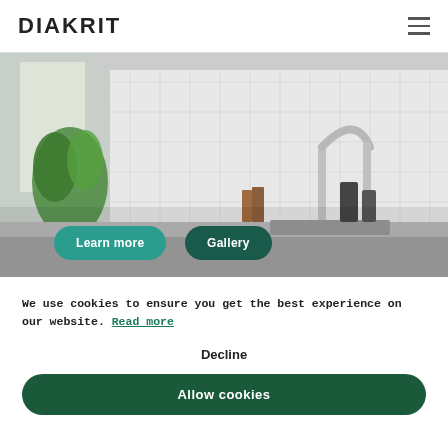DIAKRIT
[Figure (photo): Kitchen interior with green plant on left, white tile backsplash, modern faucet, and kitchen accessories. Two rounded buttons overlay the image: 'Learn more' (teal) and 'Gallery' (dark green).]
We use cookies to ensure you get the best experience on our website. Read more
Decline
Allow cookies